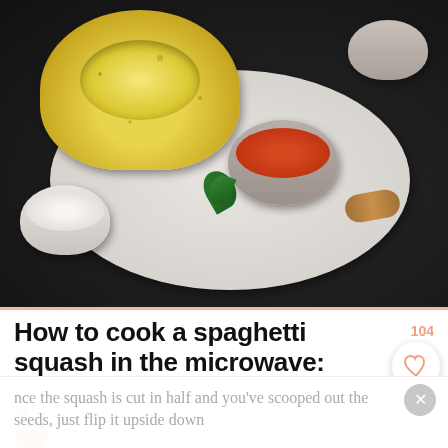[Figure (photo): Food photo showing a roasted spaghetti squash half on a marble board, with bowls of tomato sauce and white cream/cheese, fresh basil leaves, on a dark background]
How to cook a spaghetti squash in the microwave:
104
14
nce the squash is cut in half and you've scooped out the seeds, just flip it upside down